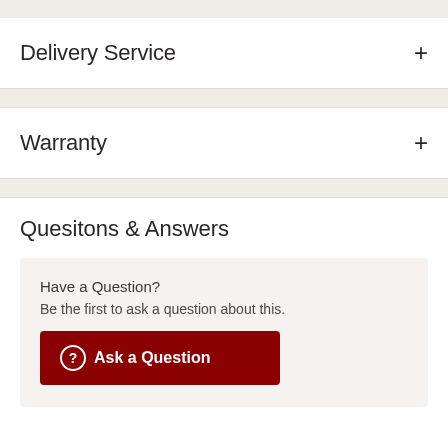Delivery Service
Warranty
Quesitons & Answers
Have a Question?
Be the first to ask a question about this.
Ask a Question